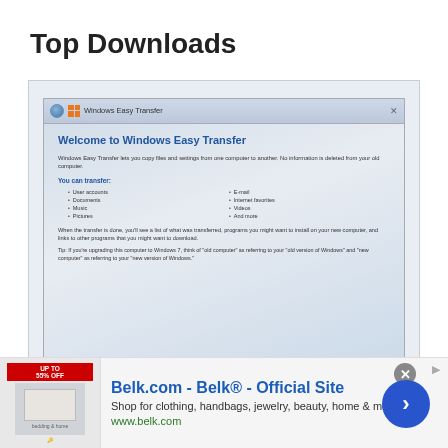Top Downloads
[Figure (screenshot): Windows Easy Transfer application welcome screen showing title bar, 'Welcome to Windows Easy Transfer' heading, description text, list of transferable items (User accounts, Documents, Music, Pictures, E-mail, Internet favorites, Videos, And more), footer text, and a Next button.]
Windows Easy Transfer for Windows 10
Downloads: 43382
Size: 18.88 MB
[Figure (infographic): Advertisement banner for Belk.com - Belk Official Site. Shows 'Shop for clothing, handbags, jewelry, beauty, home & more!' and www.belk.com URL with navigation arrow button.]